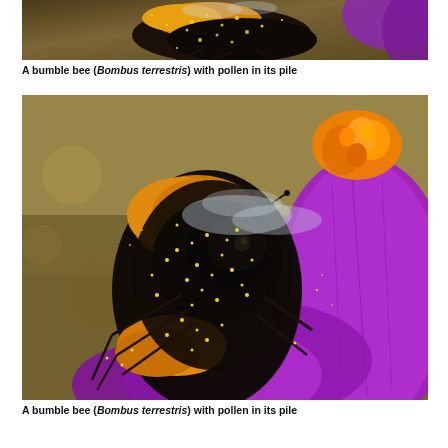[Figure (photo): Close-up photo of a bumble bee (Bombus terrestris) covered in yellow pollen, partially cropped at top of page]
A bumble bee (Bombus terrestris) with pollen in its pile
[Figure (photo): Close-up macro photo of a bumble bee (Bombus terrestris) with black and orange/yellow body covered in yellow pollen, sitting on a purple crocus flower with an orange stamen visible]
A bumble bee (Bombus terrestris) with pollen in its pile